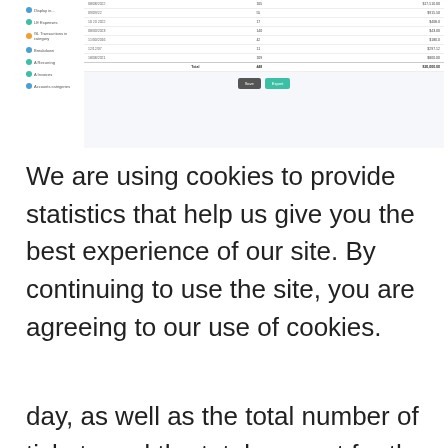[Figure (screenshot): Screenshot of a web application table showing ticket/booking data with a sidebar navigation, data rows with timestamps, quantities and amounts, a totals row, and Save/Export buttons. Background is light blue-grey.]
We are using cookies to provide statistics that help us give you the best experience of our site. By continuing to use the site, you are agreeing to our use of cookies.
That's Great!
day, as well as the total number of tickets and the total amount for the entire period. All this new functionality